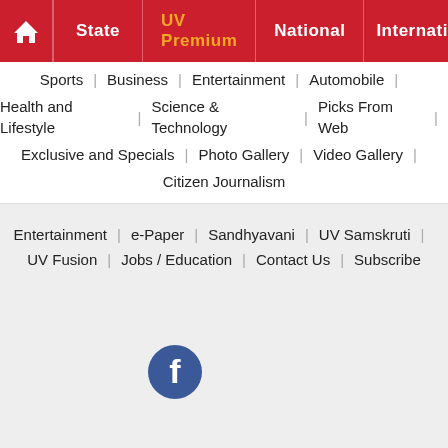Home | State | UV Premium | National | International
Sports | Business | Entertainment | Automobile
Health and Lifestyle | Science & Technology | Picks From Web
Exclusive and Specials | Photo Gallery | Video Gallery
Citizen Journalism
Entertainment | e-Paper | Sandhyavani | UV Samskruti
UV Fusion | Jobs / Education | Contact Us | Subscribe
[Figure (logo): Facebook icon circle logo]